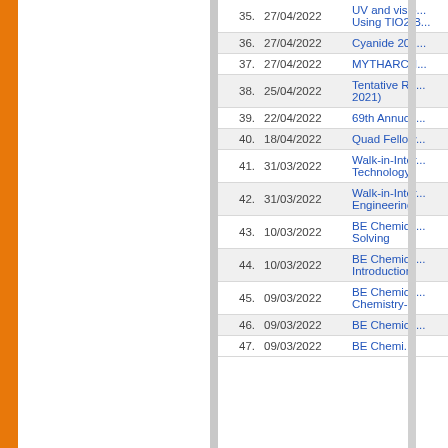| No. | Date | Title |
| --- | --- | --- |
| 35. | 27/04/2022 | UV and visibl... Using TIO2 B... |
| 36. | 27/04/2022 | Cyanide 202... |
| 37. | 27/04/2022 | MYTHARCH... |
| 38. | 25/04/2022 | Tentative Re... 2021) |
| 39. | 22/04/2022 | 69th Annuca... |
| 40. | 18/04/2022 | Quad Fellow... |
| 41. | 31/03/2022 | Walk-in-Inter... Technology |
| 42. | 31/03/2022 | Walk-in-Inter... Engineering |
| 43. | 10/03/2022 | BE Chemica... Solving |
| 44. | 10/03/2022 | BE Chemica... Introduction |
| 45. | 09/03/2022 | BE Chemica... Chemistry-II |
| 46. | 09/03/2022 | BE Chemica... |
| 47. | 09/03/2022 | BE Chemi... |